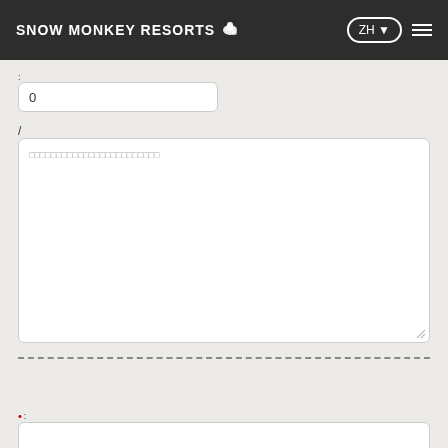SNOW MONKEY RESORTS ZH
:
0
/
placeholder text (textarea)
--- dashed divider ---
: (required field label with red dot)
(empty input field)
: (required field label with red dot)